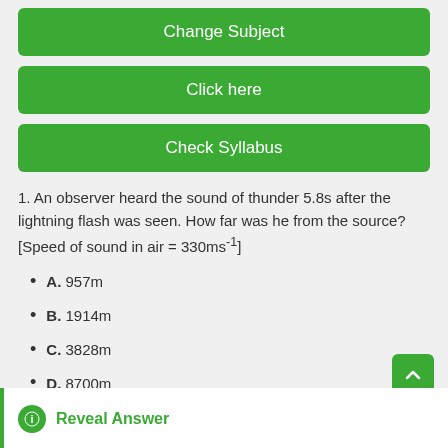Change Subject
Click here
Check Syllabus
1. An observer heard the sound of thunder 5.8s after the lightning flash was seen. How far was he from the source? [Speed of sound in air = 330ms⁻¹]
A. 957m
B. 1914m
C. 3828m
D. 8700m
E. 17400m
Reveal Answer